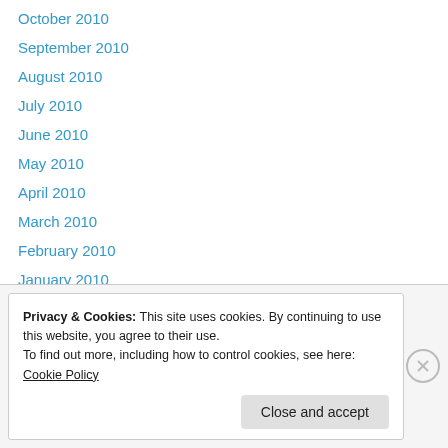October 2010
September 2010
August 2010
July 2010
June 2010
May 2010
April 2010
March 2010
February 2010
January 2010
December 2009
November 2009
Advertisements
Privacy & Cookies: This site uses cookies. By continuing to use this website, you agree to their use.
To find out more, including how to control cookies, see here: Cookie Policy
Close and accept